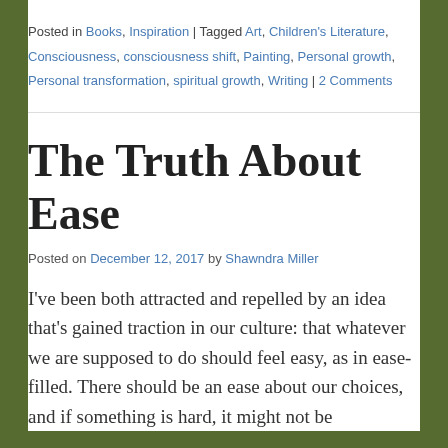Posted in Books, Inspiration | Tagged Art, Children's Literature, Consciousness, consciousness shift, Painting, Personal growth, Personal transformation, spiritual growth, Writing | 2 Comments
The Truth About Ease
Posted on December 12, 2017 by Shawndra Miller
I've been both attracted and repelled by an idea that's gained traction in our culture: that whatever we are supposed to do should feel easy, as in ease-filled. There should be an ease about our choices, and if something is hard, it might not be